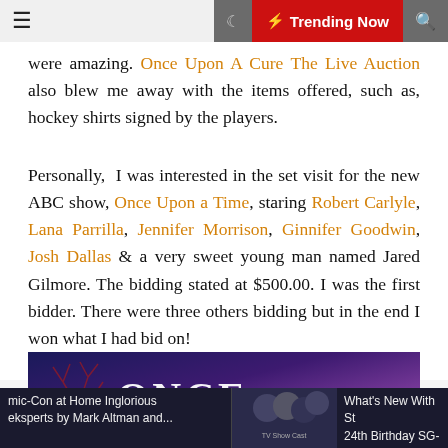≡  🌙  ⚡ Trending Now  🔍
were amazing. Once Upon A Cure The Live Auction also blew me away with the items offered, such as, hockey shirts signed by the players.
Personally, I was interested in the set visit for the new ABC show, Once Upon a Time, staring Robert Carlyle, Lana Parrilla, Jennifer Morrison, Ginnifer Goodwin, Josh Dallas & a very sweet young man named Jared Gilmore. The bidding stated at $500.00. I was the first bidder. There were three others bidding but in the end I won what I had bid on!
[Figure (screenshot): Once Upon a Time TV show logo/banner with dark blue and purple background and bare tree branches]
mic-Con at Home Inglorious eksperts by Mark Altman and...    What's New With St 24th Birthday SG-1 a